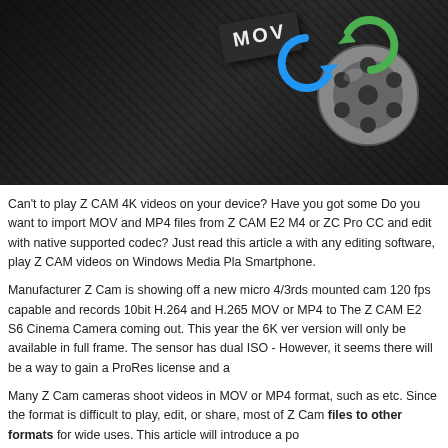[Figure (photo): Header image showing a dark background with a film reel, MOV label card, and blue/green circular arrows indicating video conversion]
Can't to play Z CAM 4K videos on your device? Have you got some Do you want to import MOV and MP4 files from Z CAM E2 M4 or ZC Pro CC and edit with native supported codec? Just read this article a with any editing software, play Z CAM videos on Windows Media Pla Smartphone.
Manufacturer Z Cam is showing off a new micro 4/3rds mounted cam 120 fps capable and records 10bit H.264 and H.265 MOV or MP4 to The Z CAM E2 S6 Cinema Camera coming out. This year the 6K ver version will only be available in full frame. The sensor has dual ISO - However, it seems there will be a way to gain a ProRes license and a
Many Z Cam cameras shoot videos in MOV or MP4 format, such as etc. Since the format is difficult to play, edit, or share, most of Z Cam files to other formats for wide uses. This article will introduce a po